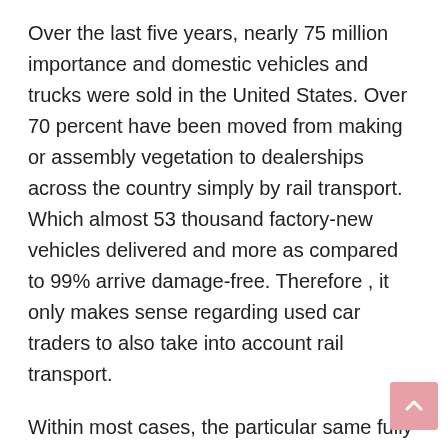Over the last five years, nearly 75 million importance and domestic vehicles and trucks were sold in the United States. Over 70 percent have been moved from making or assembly vegetation to dealerships across the country simply by rail transport. Which almost 53 thousand factory-new vehicles delivered and more as compared to 99% arrive damage-free. Therefore , it only makes sense regarding used car traders to also take into account rail transport.
Within most cases, the particular same fully-enclosed railcars that protect brand new vehicles from the weather plus road debris usually are also used in order to ship used vehicles as well. Certainly, the largest rail...